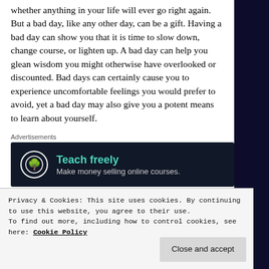whether anything in your life will ever go right again. But a bad day, like any other day, can be a gift. Having a bad day can show you that it is time to slow down, change course, or lighten up. A bad day can help you glean wisdom you might otherwise have overlooked or discounted. Bad days can certainly cause you to experience uncomfortable feelings you would prefer to avoid, yet a bad day may also give you a potent means to learn about yourself.
[Figure (other): Advertisement banner: dark background with a tree logo icon, headline 'Teach freely' in teal, subtext 'Make money selling online courses.']
Privacy & Cookies: This site uses cookies. By continuing to use this website, you agree to their use.
To find out more, including how to control cookies, see here: Cookie Policy